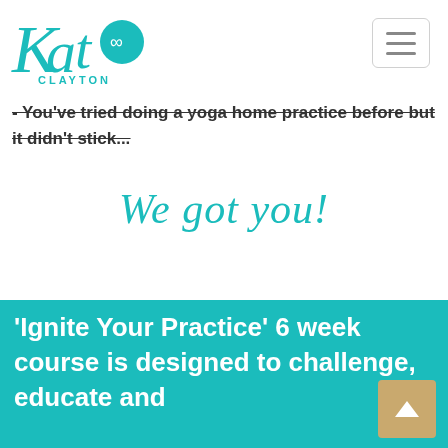[Figure (logo): Kat Clayton logo in teal — stylized 'Kat' script with lotus flower symbol and 'CLAYTON' text below]
[Figure (other): Hamburger menu button (three horizontal lines) in a rounded rectangle]
- You've tried doing a yoga home practice before but it didn't stick...
We got you!
'Ignite Your Practice' 6 week course is designed to challenge, educate and